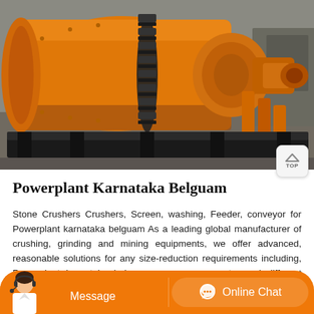[Figure (photo): Large orange industrial ball mill machine with black gear ring, sitting on a black steel frame base, photographed in a factory/warehouse setting]
Powerplant Karnataka Belguam
Stone Crushers Crushers, Screen, washing, Feeder, conveyor for Powerplant karnataka belguam As a leading global manufacturer of crushing, grinding and mining equipments, we offer advanced, reasonable solutions for any size-reduction requirements including, Powerplant karnataka belguam, quarry, aggregate, and different kinds of minerals.